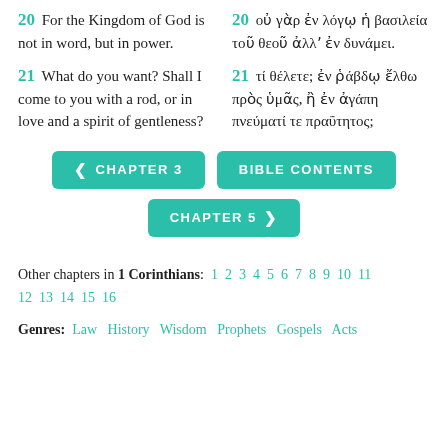20 For the Kingdom of God is not in word, but in power. | 20 οὐ γὰρ ἐν λόγῳ ἡ βασιλεία τοῦ θεοῦ ἀλλʼ ἐν δυνάμει.
21 What do you want? Shall I come to you with a rod, or in love and a spirit of gentleness? | 21 τί θέλετε; ἐν ῥάβδῳ ἔλθω πρὸς ὑμᾶς, ἢ ἐν ἀγάπη πνεύματί τε πραΰτητος;
← CHAPTER 3 | BIBLE CONTENTS | CHAPTER 5 →
Other chapters in 1 Corinthians: 1 2 3 4 5 6 7 8 9 10 11 12 13 14 15 16
Genres: Law  History  Wisdom  Prophets  Gospels  Acts